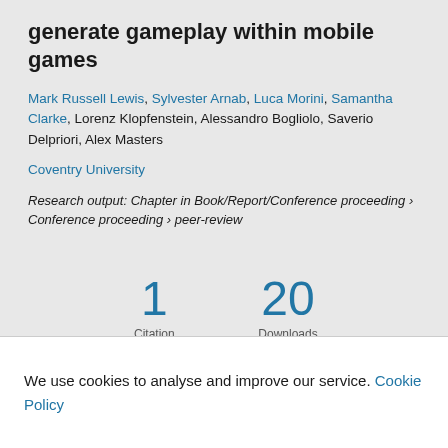generate gameplay within mobile games
Mark Russell Lewis, Sylvester Arnab, Luca Morini, Samantha Clarke, Lorenz Klopfenstein, Alessandro Bogliolo, Saverio Delpriori, Alex Masters
Coventry University
Research output: Chapter in Book/Report/Conference proceeding › Conference proceeding › peer-review
1 Citation (Scopus)
20 Downloads (Pure)
We use cookies to analyse and improve our service. Cookie Policy